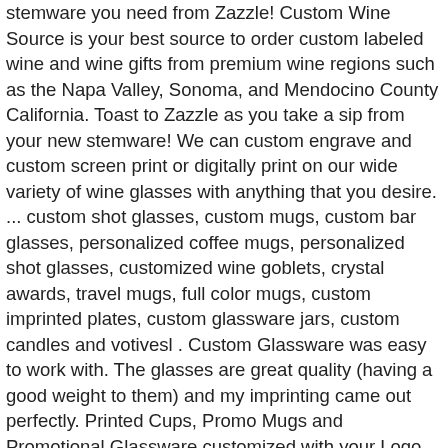stemware you need from Zazzle! Custom Wine Source is your best source to order custom labeled wine and wine gifts from premium wine regions such as the Napa Valley, Sonoma, and Mendocino County California. Toast to Zazzle as you take a sip from your new stemware! We can custom engrave and custom screen print or digitally print on our wide variety of wine glasses with anything that you desire. ... custom shot glasses, custom mugs, custom bar glasses, personalized coffee mugs, personalized shot glasses, customized wine goblets, crystal awards, travel mugs, full color mugs, custom imprinted plates, custom glassware jars, custom candles and votivesl . Custom Glassware was easy to work with. The glasses are great quality (having a good weight to them) and my imprinting came out perfectly. Printed Cups, Promo Mugs and Promotional Glassware customized with your Logo FACTORY DIRECT at 40-50% Savings. Personalized Wine Glasses – Tall Wine . Choose from classic red and white wine glasses, or modern stemless wine glasses customized in a variety of font types and monogram styles. Collection page for Personalized Wine Glasses is loaded. Wine glass: $4 for four (minimum) from Dollar Tree Etching cream: ~ $10 for a 3 oz. Before building the wine module make the dividers that hold the wine bottles and the stem holders for the wine glasses. Order online and pick up at ......l CVSI Personalized Etched Monogram Men Stemware Win